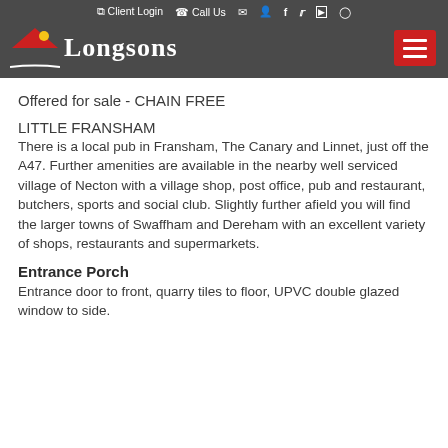Client Login  Call Us
LONGSONS
Offered for sale - CHAIN FREE
LITTLE FRANSHAM
There is a local pub in Fransham, The Canary and Linnet, just off the A47. Further amenities are available in the nearby well serviced village of Necton with a village shop, post office, pub and restaurant, butchers, sports and social club. Slightly further afield you will find the larger towns of Swaffham and Dereham with an excellent variety of shops, restaurants and supermarkets.
Entrance Porch
Entrance door to front, quarry tiles to floor, UPVC double glazed window to side.